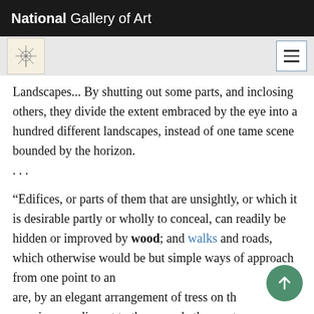National Gallery of Art
Landscapes... By shutting out some parts, and inclosing others, they divide the extent embraced by the eye into a hundred different landscapes, instead of one tame scene bounded by the horizon. . . .
“Edifices, or parts of them that are unsightly, or which it is desirable partly or wholly to conceal, can readily be hidden or improved by wood; and walks and roads, which otherwise would be but simple ways of approach from one point to another, are, by an elegant arrangement of tress on their margins, or adjacent to them, made the most